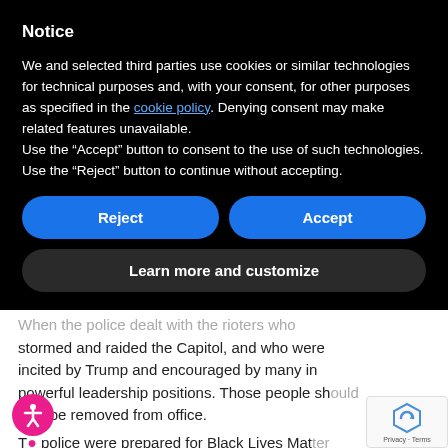Notice
We and selected third parties use cookies or similar technologies for technical purposes and, with your consent, for other purposes as specified in the cookie policy. Denying consent may make related features unavailable.
Use the “Accept” button to consent to the use of such technologies. Use the “Reject” button to continue without accepting.
Reject | Accept
Learn more and customize
stormed and raided the Capitol, and who were incited by Trump and encouraged by many in powerful leadership positions. Those people should also be removed from office.
The police were prepared for Black Lives Matter protests in the summer yet “unprepared” for this